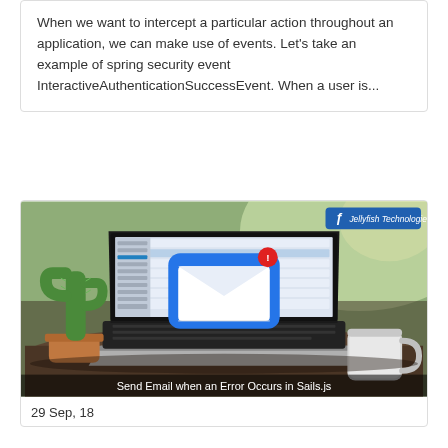When we want to intercept a particular action throughout an application, we can make use of events. Let's take an example of spring security event InteractiveAuthenticationSuccessEvent. When a user is...
[Figure (photo): Laptop on outdoor table showing email inbox with a large blue email envelope icon with a red notification badge, a cactus plant in background, coffee cup on right. Caption overlay reads 'Send Email when an Error Occurs in Sails.js'. Jellyfish Technologies logo in top right corner.]
29 Sep, 18